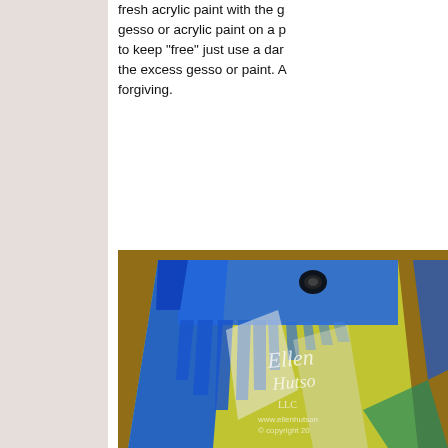fresh acrylic paint with the gesso or acrylic paint on a p to keep "free" just use a dam the excess gesso or paint. A forgiving.
[Figure (photo): Close-up photo of a painted canvas or board with blue paint streaks applied with a brush, yellow-green paint visible underneath, on a brown wooden surface. The image has a watermark overlay showing 'Ellen Hutson LLC', 'www.ellenhutson...' and '© copyright 20...']